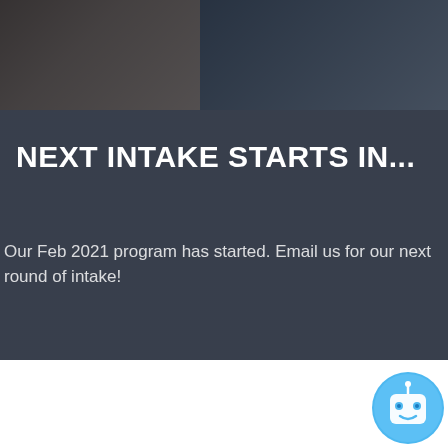[Figure (photo): Background image of a person exercising or working out, with a dark semi-transparent overlay. Two photo strips visible at the top — left one shows a gym/library setting, right one shows a darker scene.]
NEXT INTAKE STARTS IN...
Our Feb 2021 program has started. Email us for our next round of intake!
How It Works
You get 2 recorded sessions each week that you can do ANY time that suits you. You may even break them up into 10-